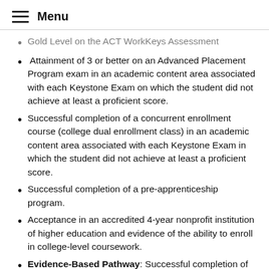Menu
Gold Level on the ACT WorkKeys Assessment
Attainment of 3 or better on an Advanced Placement Program exam in an academic content area associated with each Keystone Exam on which the student did not achieve at least a proficient score.
Successful completion of a concurrent enrollment course (college dual enrollment class) in an academic content area associated with each Keystone Exam in which the student did not achieve at least a proficient score.
Successful completion of a pre-apprenticeship program.
Acceptance in an accredited 4-year nonprofit institution of higher education and evidence of the ability to enroll in college-level coursework.
Evidence-Based Pathway: Successful completion of locally established, grade-based requirements for academic content areas associated with each Keystone Exam (i.e.,